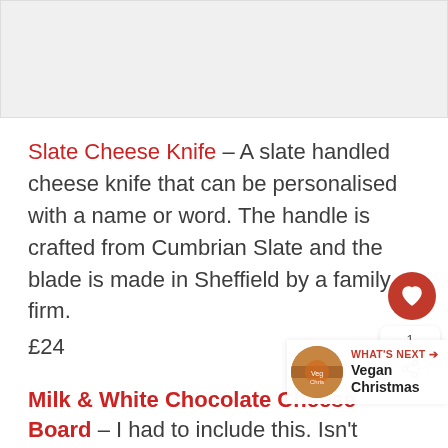[Figure (photo): Placeholder image area at top of page, light grey background]
Slate Cheese Knife - A slate handled cheese knife that can be personalised with a name or word. The handle is crafted from Cumbrian Slate and the blade is made in Sheffield by a family firm. £24
Milk & White Chocolate Cheese Board - I had to include this. Isn't